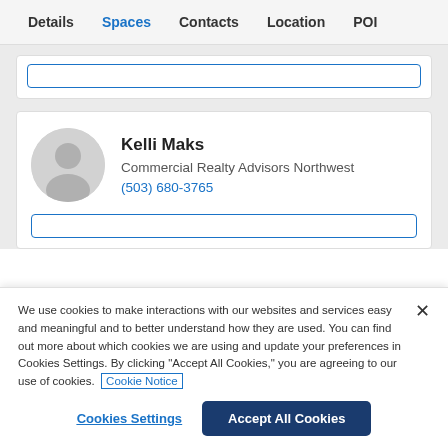Details  Spaces  Contacts  Location  POI
[Figure (screenshot): Partial card with blue-bordered input stub at top]
Kelli Maks
Commercial Realty Advisors Northwest
(503) 680-3765
We use cookies to make interactions with our websites and services easy and meaningful and to better understand how they are used. You can find out more about which cookies we are using and update your preferences in Cookies Settings. By clicking "Accept All Cookies," you are agreeing to our use of cookies.  Cookie Notice
Cookies Settings
Accept All Cookies